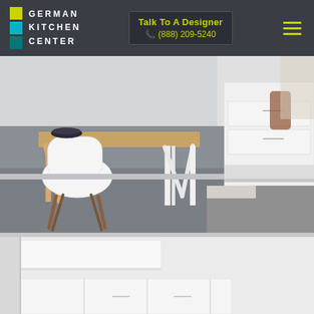GERMAN KITCHEN CENTER | Talk To A Designer ☎ (888) 209-5240
[Figure (photo): Modern kitchen/dining area with white cabinetry, wooden dining table with white chairs, grey concrete floor, and area rug in background]
[Figure (photo): Partial view of a modern white kitchen interior, bright and minimal]